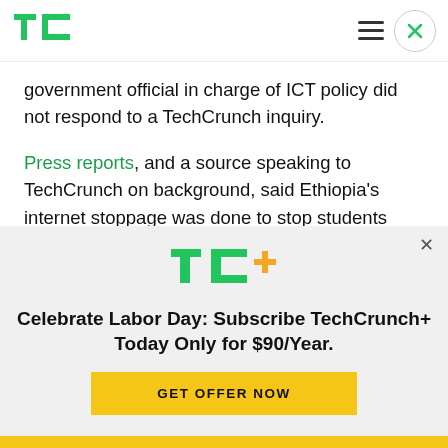TechCrunch
government official in charge of ICT policy did not respond to a TechCrunch inquiry.
Press reports, and a source speaking to TechCrunch on background, said Ethiopia's internet stoppage was done to stop students from cheating on national exams, which took place this week.
[Figure (logo): TC+ logo with green TC letters and orange plus sign]
Celebrate Labor Day: Subscribe TechCrunch+ Today Only for $90/Year.
GET OFFER NOW